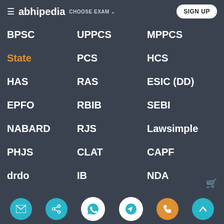≡ abhipedia  CHOOSE EXAM ∨  SIGN UP
BPSC | UPPCS | MPPCS
State | PCS | HCS
HAS | RAS | ESIC (DD)
EPFO | RBIB | SEBI
NABARD | RJS | Lawsimple
PHJS | CLAT | CAPF
drdo | IB | NDA
CDS | Bank | IBPS (PO/SO)
IBPSCI | RRBA | SBIPO